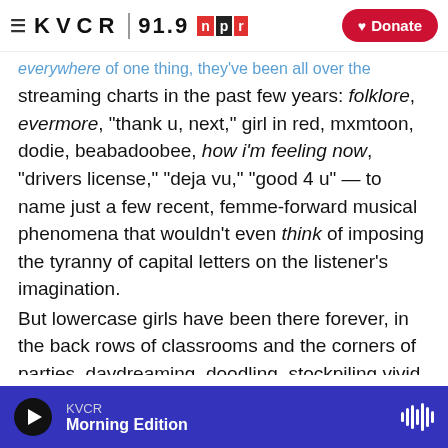KVCR 91.9 NPR | Donate
everywhere of one thing, they've been all over the streaming charts in the past few years: folklore, evermore, "thank u, next," girl in red, mxmtoon, dodie, beabadoobee, how i'm feeling now, "drivers license," "deja vu," "good 4 u" — to name just a few recent, femme-forward musical phenomena that wouldn't even think of imposing the tyranny of capital letters on the listener's imagination.
But lowercase girls have been there forever, in the back rows of classrooms and the corners of parties, daydreaming, doodling, stockpiling vivid details and observations in the marble notebooks of their minds — waiting for the precise moment to launch
KVCR | Morning Edition